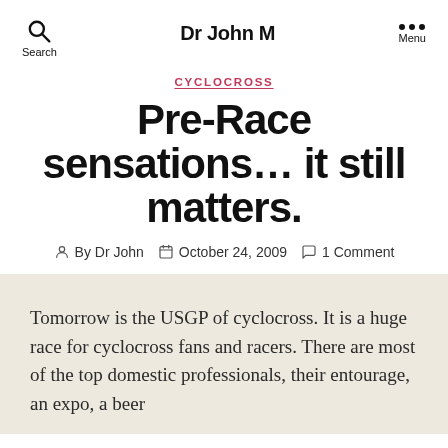Dr John M
CYCLOCROSS
Pre-Race sensations… it still matters.
By Dr John  October 24, 2009  1 Comment
Tomorrow is the USGP of cyclocross. It is a huge race for cyclocross fans and racers. There are most of the top domestic professionals, their entourage, an expo, a beer